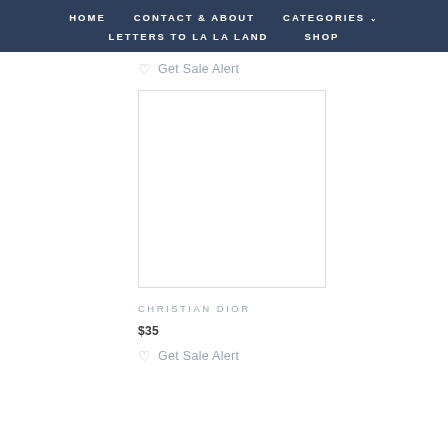HOME   CONTACT & ABOUT   CATEGORIES ∨   LETTERS TO LA LA LAND   SHOP
♡ Get Sale Alert
[Figure (photo): White product image placeholder box with light border]
CHRISTIAN DIOR
$35
♡ Get Sale Alert